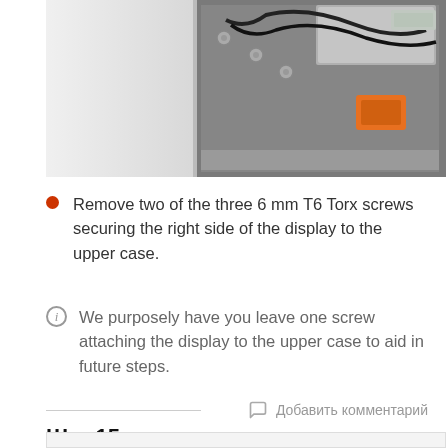[Figure (photo): Photo showing the back of a laptop display with cables and screws visible on the right side panel, and a white/grey left panel.]
Remove two of the three 6 mm T6 Torx screws securing the right side of the display to the upper case.
We purposely have you leave one screw attaching the display to the upper case to aid in future steps.
Добавить комментарий
Шаг 15
[Figure (photo): Partial view of next step photo (cropped at bottom of page).]